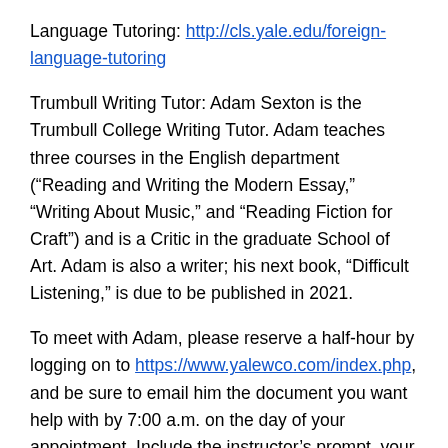Language Tutoring: http://cls.yale.edu/foreign-language-tutoring
Trumbull Writing Tutor: Adam Sexton is the Trumbull College Writing Tutor. Adam teaches three courses in the English department (“Reading and Writing the Modern Essay,” “Writing About Music,” and “Reading Fiction for Craft”) and is a Critic in the graduate School of Art. Adam is also a writer; his next book, “Difficult Listening,” is due to be published in 2021.
To meet with Adam, please reserve a half-hour by logging on to https://www.yalewco.com/index.php, and be sure to email him the document you want help with by 7:00 a.m. on the day of your appointment. Include the instructor’s prompt, your focus for our meeting, and when the paper is due. Adam looks forward to working